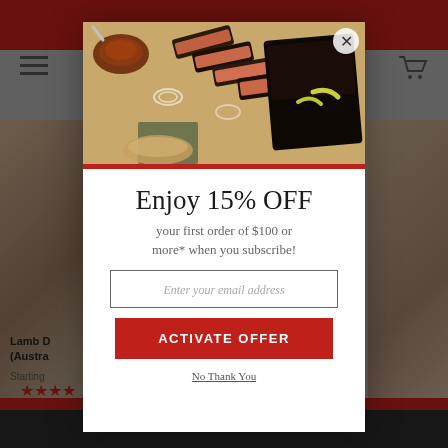[Figure (screenshot): E-commerce website screenshot showing a popup modal overlay. Background shows a meat/butcher website with red header bar, navigation icons, and product images. Modal contains a food photo of sliced brisket with a close (X) button, a red divider line, promotional text 'Enjoy 15% OFF your first order of $100 or more* when you subscribe!', an email input field, a red 'ACTIVATE OFFER' button, and a 'No Thank You' link.]
Enjoy 15% OFF
your first order of $100 or more* when you subscribe!
Enter your email address
ACTIVATE OFFER
No Thank You
Lamb D (Austra
Starting